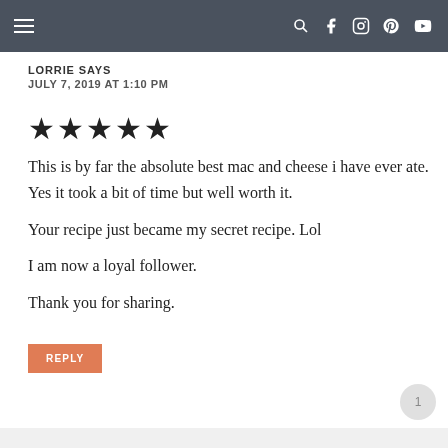Navigation bar with hamburger menu and social icons
LORRIE SAYS
JULY 7, 2019 AT 1:10 PM
[Figure (other): Five filled star rating icons]
This is by far the absolute best mac and cheese i have ever ate. Yes it took a bit of time but well worth it.
Your recipe just became my secret recipe. Lol
I am now a loyal follower.

Thank you for sharing.
REPLY